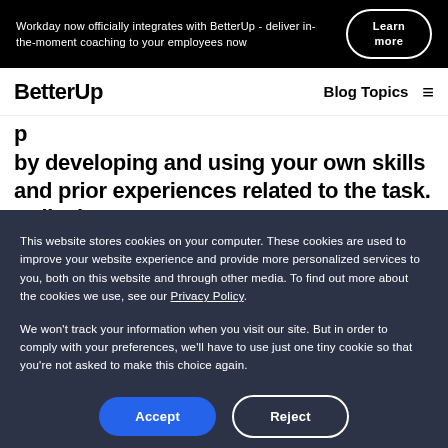Workday now officially integrates with BetterUp - deliver in-the-moment coaching to your employees now | Learn more
BetterUp | Blog Topics
by developing and using your own skills and prior experiences related to the task. Believing
This website stores cookies on your computer. These cookies are used to improve your website experience and provide more personalized services to you, both on this website and through other media. To find out more about the cookies we use, see our Privacy Policy.
We won't track your information when you visit our site. But in order to comply with your preferences, we'll have to use just one tiny cookie so that you're not asked to make this choice again.